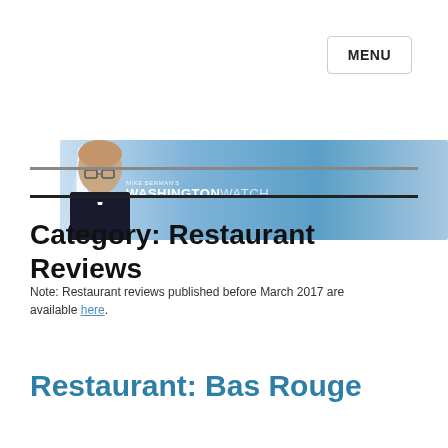MENU
[Figure (illustration): Mike Berman's Washington Watch banner with obelisk/monument graphic on left, blue gradient background, and a photo of a bespectacled man on the right]
Category: Restaurant Reviews
Note: Restaurant reviews published before March 2017 are available here.
Restaurant: Bas Rouge